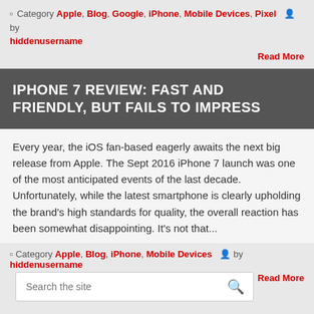Category Apple, Blog, Google, iPhone, Mobile Devices, Pixel   by hiddenusername
Read More
IPHONE 7 REVIEW: FAST AND FRIENDLY, BUT FAILS TO IMPRESS
Every year, the iOS fan-based eagerly awaits the next big release from Apple. The Sept 2016 iPhone 7 launch was one of the most anticipated events of the last decade. Unfortunately, while the latest smartphone is clearly upholding the brand's high standards for quality, the overall reaction has been somewhat disappointing. It's not that...
Category Apple, Blog, iPhone, Mobile Devices   by hiddenusername
Read More